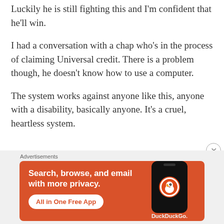Luckily he is still fighting this and I'm confident that he'll win.
I had a conversation with a chap who's in the process of claiming Universal credit. There is a problem though, he doesn't know how to use a computer.
The system works against anyone like this, anyone with a disability, basically anyone. It's a cruel, heartless system.
[Figure (infographic): DuckDuckGo advertisement banner. Orange background with text 'Search, browse, and email with more privacy.' and 'All in One Free App' button. Right side shows a phone with DuckDuckGo logo. 'Advertisements' label above the banner.]